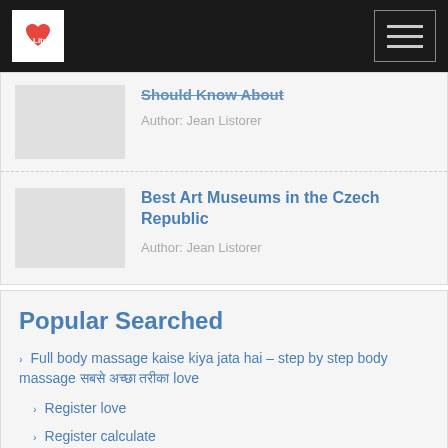Lite [logo] / hamburger menu
Should Know About
Author: Jean Listorer
Best Art Museums in the Czech Republic
Author: Jean Listorer
Popular Searched
Full body massage kaise kiya jata hai – step by step body massage सबसे अच्छा तरीका love
Register love
Register calculate
Wp login.php calculate